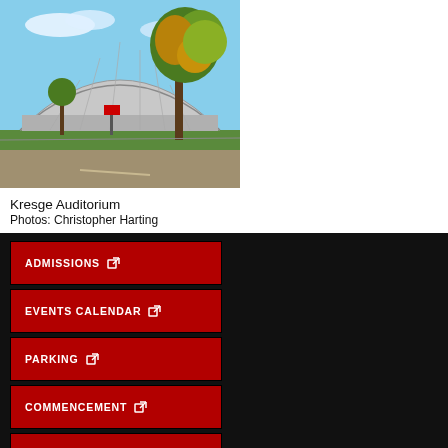[Figure (photo): Exterior photo of Kresge Auditorium at MIT, showing the distinctive dome structure with trees in foreground and green lawn, blue sky background]
Kresge Auditorium
Photos: Christopher Harting
ADMISSIONS
EVENTS CALENDAR
PARKING
COMMENCEMENT
ACCESSIBILITY